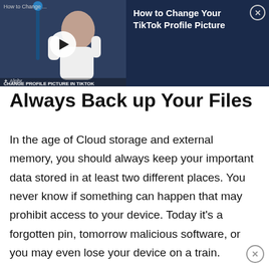[Figure (screenshot): Video banner overlay showing a TikTok tutorial video thumbnail on the left with a play button, title text 'CHANGE PROFILE PICTURE IN TIKTOK' and Alphr branding. On the right side: title 'How to Change Your TikTok Profile Picture' with a close (X) button. Dark navy background.]
Always Back up Your Files
In the age of Cloud storage and external memory, you should always keep your important data stored in at least two different places. You never know if something can happen that may prohibit access to your device. Today it’s a forgotten pin, tomorrow malicious software, or you may even lose your device on a train.